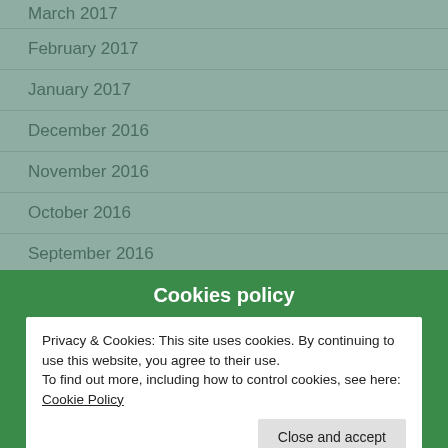March 2017
February 2017
January 2017
December 2016
November 2016
October 2016
September 2016
August 2016
July 2016
Cookies policy
Privacy & Cookies: This site uses cookies. By continuing to use this website, you agree to their use.
To find out more, including how to control cookies, see here: Cookie Policy
Close and accept